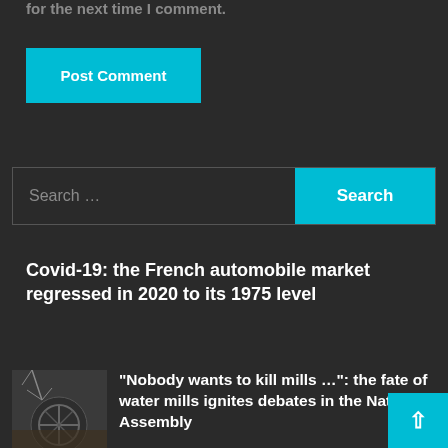for the next time I comment.
Post Comment
Search ...
Search
Covid-19: the French automobile market regressed in 2020 to its 1975 level
[Figure (photo): Thumbnail image of a water mill with bare tree branches]
“Nobody wants to kill mills …”: the fate of water mills ignites debates in the National Assembly